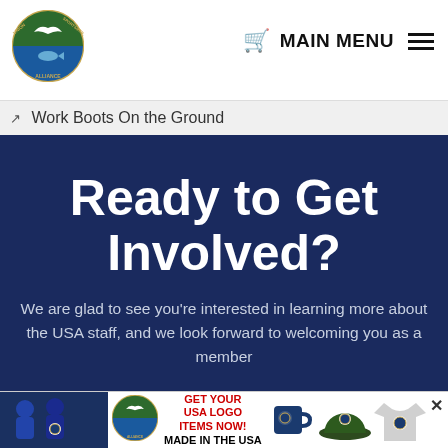[Figure (logo): Union Sportsmen's Alliance circular logo with bird and fish, green and blue]
MAIN MENU
Work Boots On the Ground
Ready to Get Involved?
We are glad to see you're interested in learning more about the USA staff, and we look forward to welcoming you as a member
[Figure (infographic): Bottom advertising banner: Union Sportsmen's Alliance logo, GET YOUR USA LOGO ITEMS NOW! MADE IN THE USA, mug, hat, shirt merchandise]